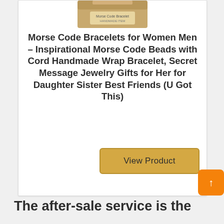[Figure (photo): Partial view of a kraft paper box labeled 'Morse Code Bracelet HANDMADE ITEM' at the top of a product card]
Morse Code Bracelets for Women Men – Inspirational Morse Code Beads with Cord Handmade Wrap Bracelet, Secret Message Jewelry Gifts for Her for Daughter Sister Best Friends (U Got This)
View Product
The after-sale service is the